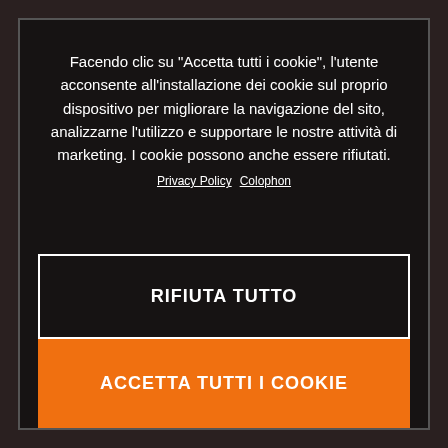Facendo clic su "Accetta tutti i cookie", l'utente acconsente all'installazione dei cookie sul proprio dispositivo per migliorare la navigazione del sito, analizzarne l'utilizzo e supportare le nostre attività di marketing. I cookie possono anche essere rifiutati.
Privacy Policy  Colophon
RIFIUTA TUTTO
ACCETTA TUTTI I COOKIE